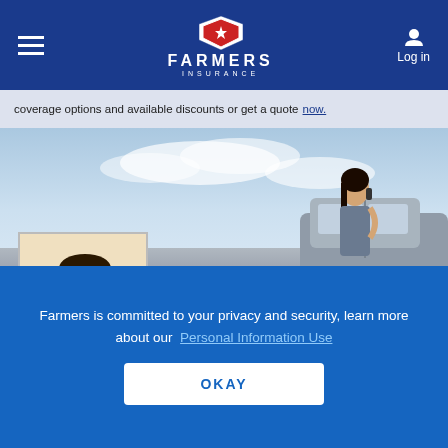[Figure (logo): Farmers Insurance logo with shield emblem, white text on dark blue navigation bar]
coverage options and available discounts or get a quote now.
[Figure (photo): Hero banner photo of a woman on a phone leaning against a car, sky background]
[Figure (photo): Headshot photo of Walt Holley, African American male agent wearing glasses and a tie]
WALT HOLLEY
Auto Insurance Agent in Olivette, MO
Farmers is committed to your privacy and security, learn more about our Personal Information Use
OKAY